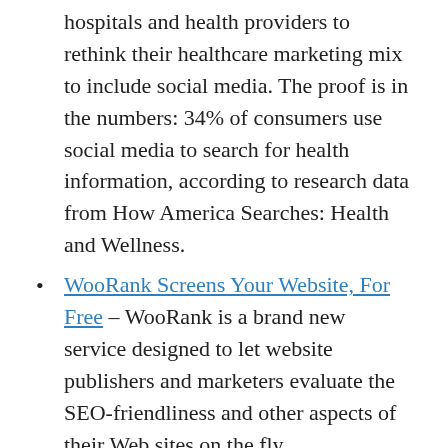hospitals and health providers to rethink their healthcare marketing mix to include social media. The proof is in the numbers: 34% of consumers use social media to search for health information, according to research data from How America Searches: Health and Wellness.
WooRank Screens Your Website, For Free – WooRank is a brand new service designed to let website publishers and marketers evaluate the SEO-friendliness and other aspects of their Web sites on the fly.
Uploading any file : Uploading and exporting – Google Docs – Now you can upload all your files without converting them to Google Docs. You can use Google Docs to open these